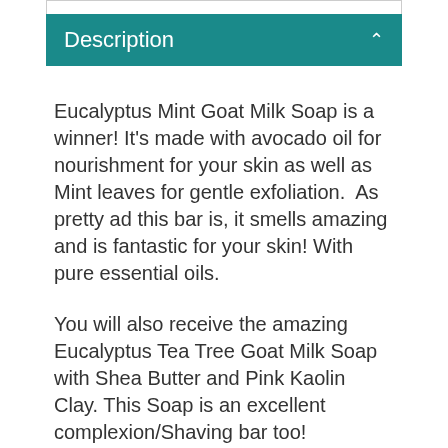Description
Eucalyptus Mint Goat Milk Soap is a winner! It's made with avocado oil for nourishment for your skin as well as Mint leaves for gentle exfoliation.  As pretty ad this bar is, it smells amazing and is fantastic for your skin! With pure essential oils.
You will also receive the amazing Eucalyptus Tea Tree Goat Milk Soap with Shea Butter and Pink Kaolin Clay. This Soap is an excellent complexion/Shaving bar too!
All of our soap is made in the centuries old "Cold Process" method and cured several weeks to ensure a nice hard long-lasting bar for you! Each 4.5 ounce  bar is made with Olive Oil for its moisturizing properties, coconut oil (fluffy lather)